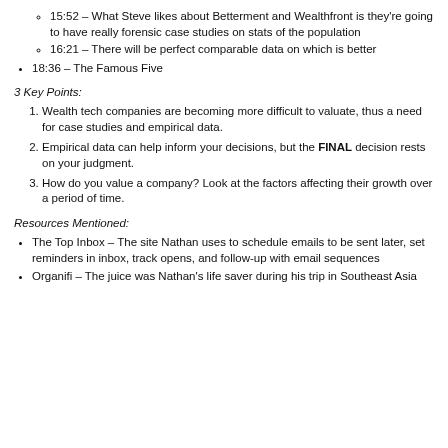15:52 – What Steve likes about Betterment and Wealthfront is they're going to have really forensic case studies on stats of the population
16:21 – There will be perfect comparable data on which is better
18:36 – The Famous Five
3 Key Points:
Wealth tech companies are becoming more difficult to valuate, thus a need for case studies and empirical data.
Empirical data can help inform your decisions, but the FINAL decision rests on your judgment.
How do you value a company? Look at the factors affecting their growth over a period of time.
Resources Mentioned:
The Top Inbox – The site Nathan uses to schedule emails to be sent later, set reminders in inbox, track opens, and follow-up with email sequences
Organifi – The juice was Nathan's life saver during his trip in Southeast Asia